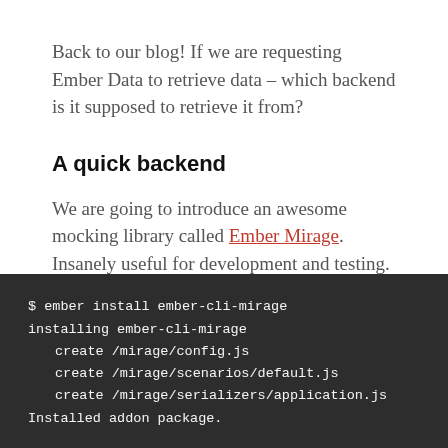Back to our blog! If we are requesting Ember Data to retrieve data – which backend is it supposed to retrieve it from?
A quick backend
We are going to introduce an awesome mocking library called Ember Mirage. Insanely useful for development and testing.
[Figure (screenshot): Terminal code block showing: $ ember install ember-cli-mirage / installing ember-cli-mirage / create /mirage/config.js / create /mirage/scenarios/default.js / create /mirage/serializers/application.js / Installed addon package.]